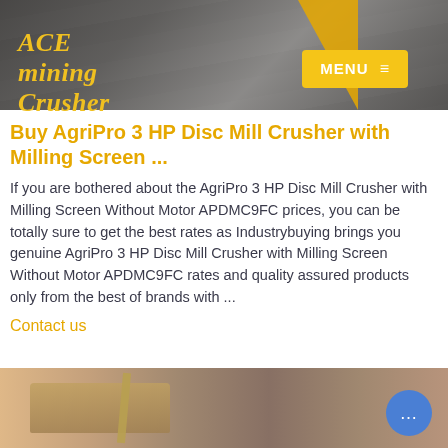[Figure (photo): Mining/construction site header banner with dark overlay and yellow triangular accent, showing road/terrain in background]
ACE mining Crusher
Buy AgriPro 3 HP Disc Mill Crusher with Milling Screen ...
If you are bothered about the AgriPro 3 HP Disc Mill Crusher with Milling Screen Without Motor APDMC9FC prices, you can be totally sure to get the best rates as Industrybuying brings you genuine AgriPro 3 HP Disc Mill Crusher with Milling Screen Without Motor APDMC9FC rates and quality assured products only from the best of brands with ...
Contact us
[Figure (photo): Aerial view of mining site with heavy equipment, trucks and drilling machinery on reddish-brown terrain]